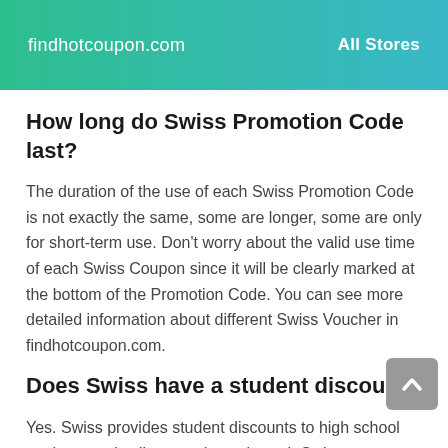findhotcoupon.com   All Stores
How long do Swiss Promotion Code last?
The duration of the use of each Swiss Promotion Code is not exactly the same, some are longer, some are only for short-term use. Don't worry about the valid use time of each Swiss Coupon since it will be clearly marked at the bottom of the Promotion Code. You can see more detailed information about different Swiss Voucher in findhotcoupon.com.
Does Swiss have a student discount?
Yes. Swiss provides student discounts to high school students and college students through Swiss own discount system. This specific student